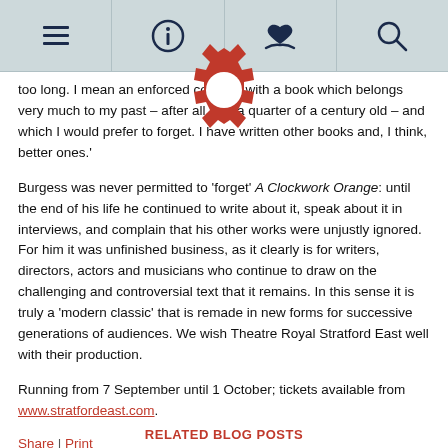[Navigation bar with menu, info, donate, search icons]
[Figure (illustration): Red gear/cog icon overlapping the navigation bar and top text area]
too long. I mean an enforced concern with a book which belongs very much to my past – after all, it is a quarter of a century old – and which I would prefer to forget. I have written other books and, I think, better ones.'
Burgess was never permitted to 'forget' A Clockwork Orange: until the end of his life he continued to write about it, speak about it in interviews, and complain that his other works were unjustly ignored. For him it was unfinished business, as it clearly is for writers, directors, actors and musicians who continue to draw on the challenging and controversial text that it remains. In this sense it is truly a 'modern classic' that is remade in new forms for successive generations of audiences. We wish Theatre Royal Stratford East well with their production.
Running from 7 September until 1 October; tickets available from www.stratfordeast.com.
Share | Print
RELATED BLOG POSTS